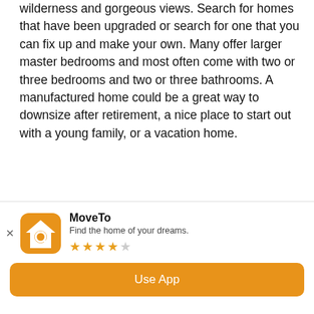wilderness and gorgeous views. Search for homes that have been upgraded or search for one that you can fix up and make your own. Many offer larger master bedrooms and most often come with two or three bedrooms and two or three bathrooms. A manufactured home could be a great way to downsize after retirement, a nice place to start out with a young family, or a vacation home.
Not seeing a home that meets your needs?
Contact Us to learn more about property for
[Figure (screenshot): Mobile app install banner for 'MoveTo' app. Shows app icon (orange house with magnifying glass), app name 'MoveTo', tagline 'Find the home of your dreams.', 4-star rating, and an orange 'Use App' button. Has a close (x) button on the left.]